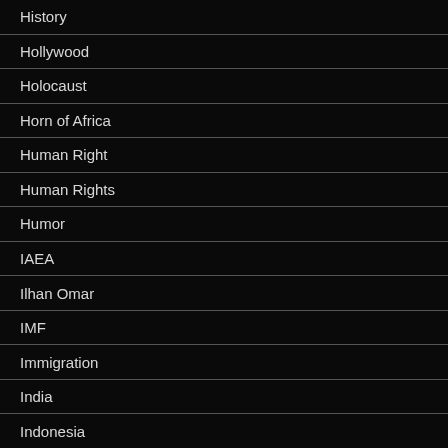History
Hollywood
Holocaust
Horn of Africa
Human Right
Human Rights
Humor
IAEA
Ilhan Omar
IMF
Immigration
India
Indonesia